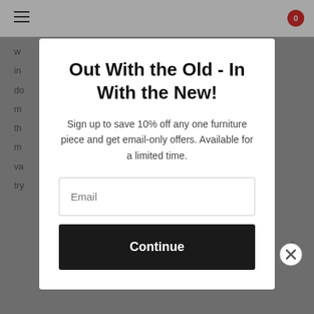Out With the Old - In With the New!
Sign up to save 10% off any one furniture piece and get email-only offers. Available for a limited time.
Email
Continue